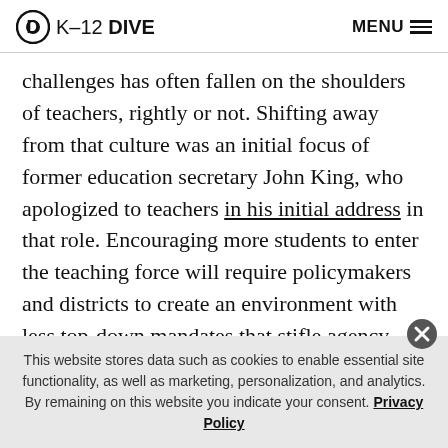K-12 DIVE  MENU
challenges has often fallen on the shoulders of teachers, rightly or not. Shifting away from that culture was an initial focus of former education secretary John King, who apologized to teachers in his initial address in that role. Encouraging more students to enter the teaching force will require policymakers and districts to create an environment with less top-down mandates that stifle agency and innovation, better pay, and perhaps a greater sense of recognition and prestige for the work educators
This website stores data such as cookies to enable essential site functionality, as well as marketing, personalization, and analytics. By remaining on this website you indicate your consent. Privacy Policy